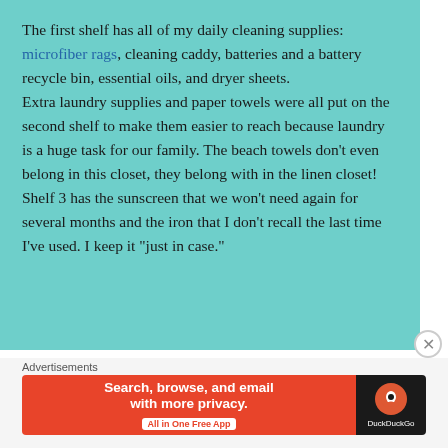The first shelf has all of my daily cleaning supplies: microfiber rags, cleaning caddy, batteries and a battery recycle bin, essential oils, and dryer sheets.
Extra laundry supplies and paper towels were all put on the second shelf to make them easier to reach because laundry is a huge task for our family. The beach towels don't even belong in this closet, they belong with in the linen closet!
Shelf 3 has the sunscreen that we won't need again for several months and the iron that I don't recall the last time I've used. I keep it "just in case."
[Figure (other): DuckDuckGo advertisement banner: orange left section with text 'Search, browse, and email with more privacy. All in One Free App' and dark right section with DuckDuckGo logo and brand name.]